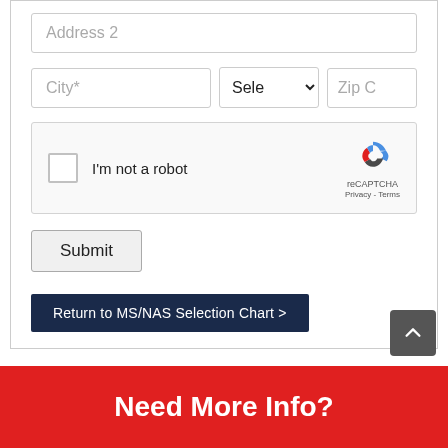Address 2
City*
Sele
Zip C
[Figure (screenshot): reCAPTCHA widget with checkbox, 'I'm not a robot' label, reCAPTCHA logo and Privacy - Terms links]
Submit
Return to MS/NAS Selection Chart >
Need More Info?